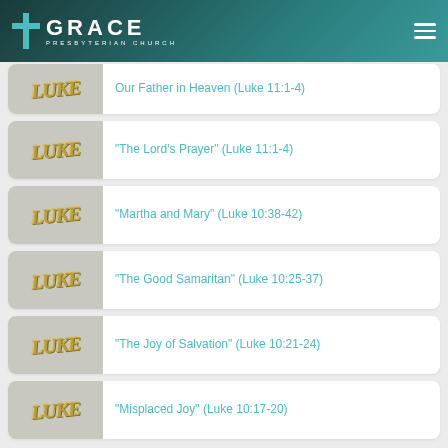Grace Presbyterian Church
Our Father in Heaven (Luke 11:1-4)
“The Lord’s Prayer” (Luke 11:1-4)
“Martha and Mary” (Luke 10:38-42)
“The Good Samaritan” (Luke 10:25-37)
“The Joy of Salvation” (Luke 10:21-24)
“Misplaced Joy” (Luke 10:17-20)